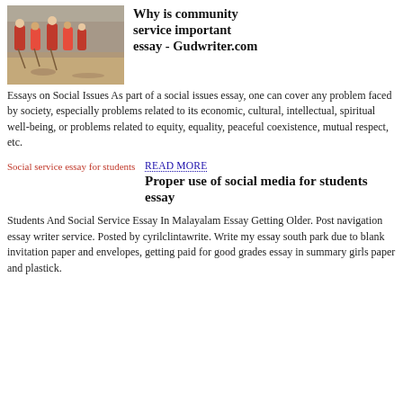[Figure (photo): People in red clothing doing community service work outdoors, sweeping or raking dirt ground]
Why is community service important essay - Gudwriter.com
Essays on Social Issues As part of a social issues essay, one can cover any problem faced by society, especially problems related to its economic, cultural, intellectual, spiritual well-being, or problems related to equity, equality, peaceful coexistence, mutual respect, etc.
[Figure (other): Social service essay for students — broken image placeholder text in red]
READ MORE
Proper use of social media for students essay
Students And Social Service Essay In Malayalam Essay Getting Older. Post navigation essay writer service. Posted by cyrilclintawrite. Write my essay south park due to blank invitation paper and envelopes, getting paid for good grades essay in summary girls paper and plastick.